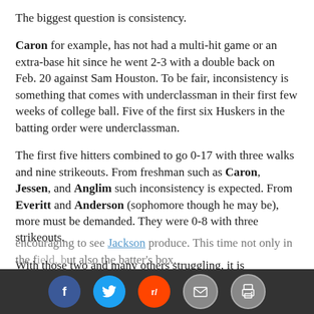The biggest question is consistency.
Caron for example, has not had a multi-hit game or an extra-base hit since he went 2-3 with a double back on Feb. 20 against Sam Houston. To be fair, inconsistency is something that comes with underclassman in their first few weeks of college ball. Five of the first six Huskers in the batting order were underclassman.
The first five hitters combined to go 0-17 with three walks and nine strikeouts. From freshman such as Caron, Jessen, and Anglim such inconsistency is expected. From Everitt and Anderson (sophomore though he may be), more must be demanded. They were 0-8 with three strikeouts.
With those two and many others struggling, it is encouraging to see Jackson produce. This time not only in the field, but also the batter's box.